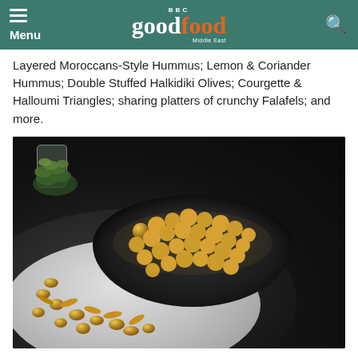BBC Good Food Middle East – Menu / Search header
Layered Moroccans-Style Hummus; Lemon & Coriander Hummus; Double Stuffed Halkidiki Olives; Courgette & Halloumi Triangles; sharing platters of crunchy Falafels; and more.
[Figure (photo): A dark bowl filled with golden crunchy roasted chickpeas, placed on a white plate which sits on a large dark marble-style plate, on a dark grey surface. Fresh green herbs and a glass are visible in the background.]